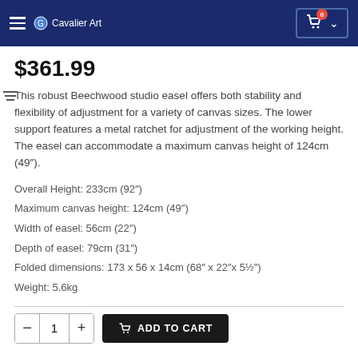Cavalier Art
$361.99
This robust Beechwood studio easel offers both stability and flexibility of adjustment for a variety of canvas sizes. The lower support features a metal ratchet for adjustment of the working height. The easel can accommodate a maximum canvas height of 124cm (49″).
Overall Height: 233cm (92″)
Maximum canvas height: 124cm (49″)
Width of easel: 56cm (22″)
Depth of easel: 79cm (31″)
Folded dimensions: 173 x 56 x 14cm (68″ x 22″x 5½″)
Weight: 5.6kg